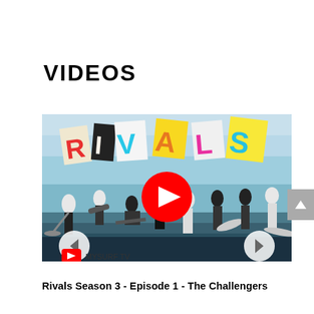VIDEOS
[Figure (screenshot): YouTube video thumbnail for 'Rivals Season 3 - Episode 1 - The Challengers' showing surfers in black and white with colorful RIVALS lettering collage above them and a red YouTube play button in the center. Channel shown as MYSURF TV.]
Rivals Season 3 - Episode 1 - The Challengers